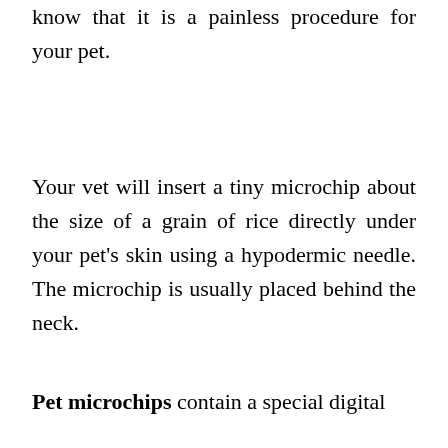know that it is a painless procedure for your pet.
Your vet will insert a tiny microchip about the size of a grain of rice directly under your pet's skin using a hypodermic needle. The microchip is usually placed behind the neck.
Pet microchips contain a special digital